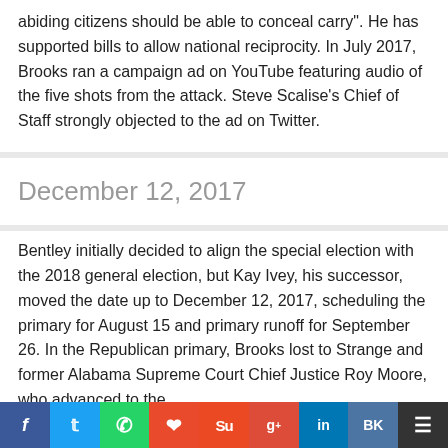abiding citizens should be able to conceal carry". He has supported bills to allow national reciprocity. In July 2017, Brooks ran a campaign ad on YouTube featuring audio of the five shots from the attack. Steve Scalise's Chief of Staff strongly objected to the ad on Twitter.
December 12, 2017
Bentley initially decided to align the special election with the 2018 general election, but Kay Ivey, his successor, moved the date up to December 12, 2017, scheduling the primary for August 15 and primary runoff for September 26. In the Republican primary, Brooks lost to Strange and former Alabama Supreme Court Chief Justice Roy Moore, who advanced to the
f  t  (whatsapp)  (reddit)  Su  g+  in  VK  (menu)